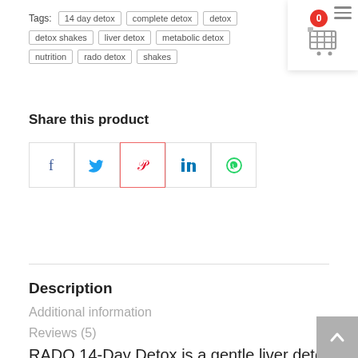Tags: 14 day detox | complete detox | detox | detox shakes | liver detox | metabolic detox | nutrition | rado detox | shakes
[Figure (screenshot): Shopping cart icon with red badge showing '0' and hamburger menu icon, top right corner]
Share this product
[Figure (infographic): Social share buttons: Facebook (f), Twitter bird, Pinterest (P), LinkedIn (in), WhatsApp]
Description
Additional information
Reviews (5)
RADO 14-Day Detox is a gentle liver detox that removes built-up chemicals and harmful waste in your